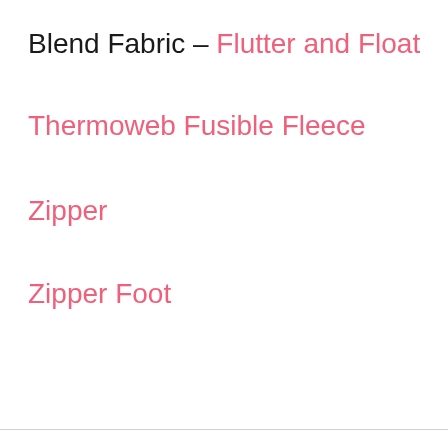Blend Fabric – Flutter and Float
Thermoweb Fusible Fleece
Zipper
Zipper Foot